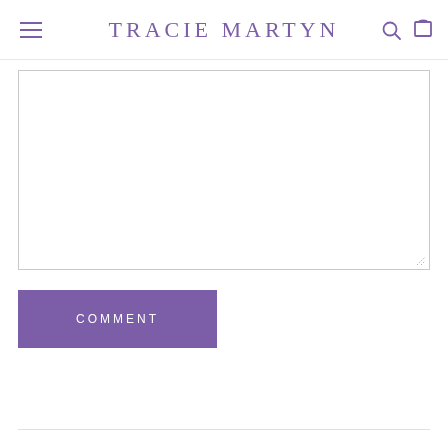Tracie Martyn
[Figure (screenshot): Empty textarea input box with resize handle in bottom-right corner]
COMMENT